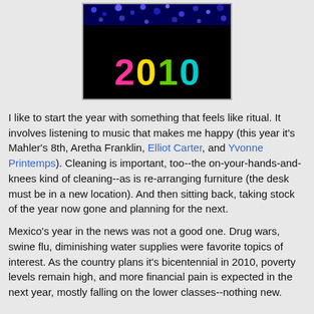[Figure (photo): Colorful '2010' year graphic on black background with blue confetti/crowd at top. The digits 2, 0, 1, 0 are in pink, yellow, green, and teal respectively.]
I like to start the year with something that feels like ritual. It involves listening to music that makes me happy (this year it's Mahler's 8th, Aretha Franklin, Elliot Carter, and Yvonne Printemps). Cleaning is important, too--the on-your-hands-and-knees kind of cleaning--as is re-arranging furniture (the desk must be in a new location). And then sitting back, taking stock of the year now gone and planning for the next.
Mexico's year in the news was not a good one. Drug wars, swine flu, diminishing water supplies were favorite topics of interest. As the country plans it's bicentennial in 2010, poverty levels remain high, and more financial pain is expected in the next year, mostly falling on the lower classes--nothing new.